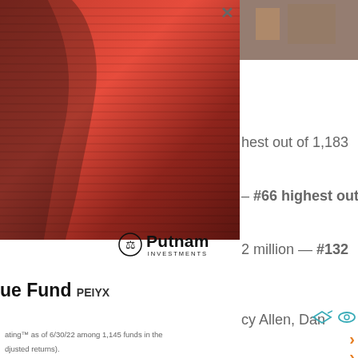[Figure (photo): Abstract red layered ribbons forming a profile silhouette against a dark background — Putnam Investments marketing image]
[Figure (photo): Small thumbnail photo in upper right corner, partially visible]
highest out of 1,183
#66 highest out
[Figure (logo): Putnam Investments logo with scales-of-justice icon]
2 million — #132
ue Fund PEIYX
cy Allen, Dan
ating™ as of 6/30/22 among 1,145 funds in the djusted returns).